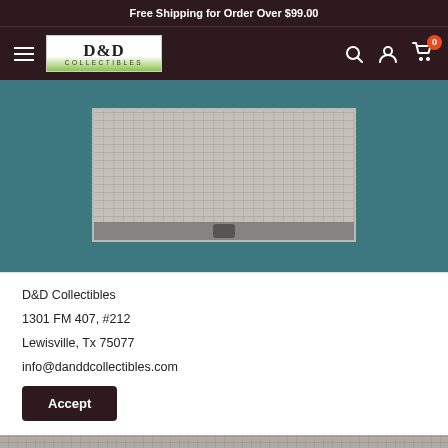Free Shipping for Order Over $99.00
[Figure (screenshot): D&D Collectibles website navigation bar with hamburger menu, logo, search icon, account icon, and cart icon with 0 badge]
[Figure (photo): Product photo of a silver crocodile-textured wallet/card holder on teal background]
D&D Collectibles
1301 FM 407, #212
Lewisville, Tx 75077
info@danddcollectibles.com